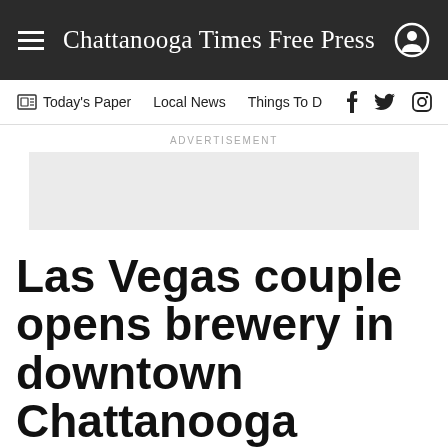Chattanooga Times Free Press
Today's Paper  Local News  Things To D
ADVERTISEMENT
Las Vegas couple opens brewery in downtown Chattanooga
Hutton & Smith Brewing Co. has